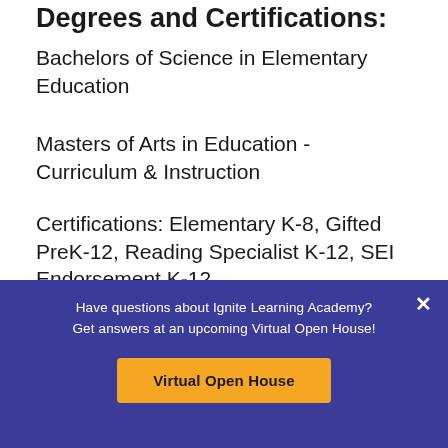Degrees and Certifications:
Bachelors of Science in Elementary Education
Masters of Arts in Education - Curriculum & Instruction
Certifications: Elementary K-8, Gifted PreK-12, Reading Specialist K-12, SEI Endorsement K-12
Have questions about Ignite Learning Academy? Get answers at an upcoming Virtual Open House!
Virtual Open House